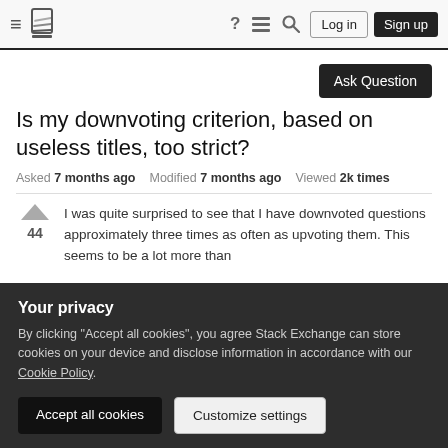Stack Exchange — Log in | Sign up
Ask Question
Is my downvoting criterion, based on useless titles, too strict?
Asked 7 months ago   Modified 7 months ago   Viewed 2k times
I was quite surprised to see that I have downvoted questions approximately three times as often as upvoting them. This seems to be a lot more than
Your privacy
By clicking "Accept all cookies", you agree Stack Exchange can store cookies on your device and disclose information in accordance with our Cookie Policy.
Accept all cookies
Customize settings
problem. Therefore, I downvote any question which